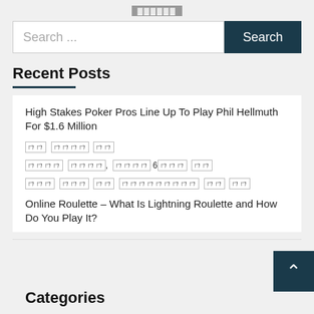[logo]
Search ...
Recent Posts
High Stakes Poker Pros Line Up To Play Phil Hellmuth For $1.6 Million
[tofu characters] [tofu characters] [tofu]
[tofu characters], [tofu] 6[tofu] [tofu]
[tofu characters] [tofu] [tofu] [tofu characters] [tofu] [tofu]
Online Roulette – What Is Lightning Roulette and How Do You Play It?
Categories